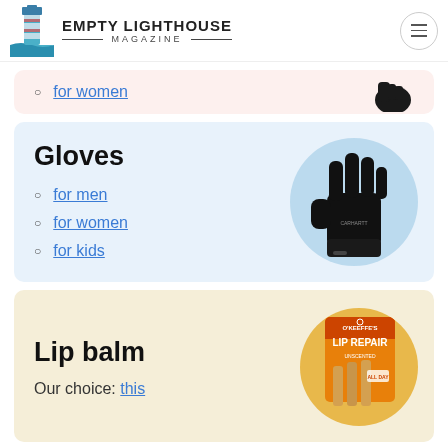Empty Lighthouse Magazine
for women
Gloves
for men
for women
for kids
[Figure (photo): Black winter glove on light blue circular background]
Lip balm
Our choice: this
[Figure (photo): O'Keeffe's Lip Repair lip balm product on orange circular background]